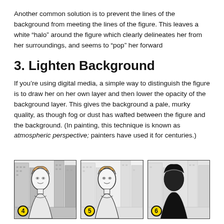Another common solution is to prevent the lines of the background from meeting the lines of the figure. This leaves a white “halo” around the figure which clearly delineates her from her surroundings, and seems to “pop” her forward
3. Lighten Background
If you’re using digital media, a simple way to distinguish the figure is to draw her on her own layer and then lower the opacity of the background layer. This gives the background a pale, murky quality, as though fog or dust has wafted between the figure and the background. (In painting, this technique is known as atmospheric perspective; painters have used it for centuries.)
[Figure (illustration): Three panel comic-style illustration sequence. Panel 4 shows a woman in the foreground with a detailed city background at normal contrast. Panel 5 shows the same woman with the background lightened/faded to demonstrate atmospheric perspective. Panel 6 shows the woman as a dark silhouette against a lighter background, showing maximum contrast variation. Each panel has a numbered yellow circle badge in the bottom-left corner.]